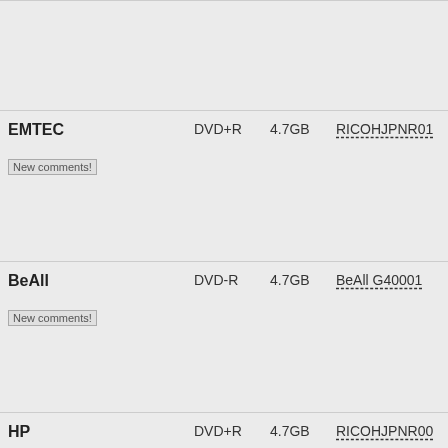| Brand | Type | Size | MID | Speed | Info |
| --- | --- | --- | --- | --- | --- |
| (continued) | DVD+R |  |  |  | PC R
Con |
| EMTEC
New comments! | DVD+R | 4.7GB | RICOHJPNR01 | 4x | Play
Play
Burr
DVD
PC R
Con |
| BeAll
New comments! | DVD-R | 4.7GB | BeAll G40001 | 4x | Play
Play
Burr
DVD
PC R
Con |
| HP
New comments! | DVD+R | 4.7GB | RICOHJPNR00 | 2.4x | Play
Play
Burr
DVD
PC R
Con |
| Prodisc | DVD-R | 4.7GB | ProdiscF01.. | 8x | Play |